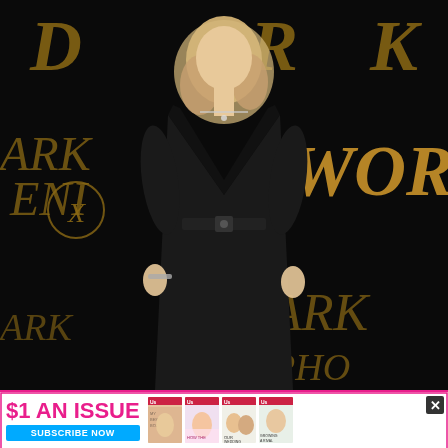[Figure (photo): A woman with blonde hair wearing a black deep-V neckline belted satin maxi dress poses at what appears to be the Dark Phoenix movie premiere. The backdrop behind her shows the Dark Phoenix X-Men logo in gold/copper lettering on a black background.]
[Figure (infographic): Advertisement banner at the bottom of the page. Pink border. Text reads '$1 AN ISSUE' in pink bold letters with 'SUBSCRIBE NOW' in a blue button below. Several magazine covers are shown to the right. A close (X) button appears in the top right corner.]